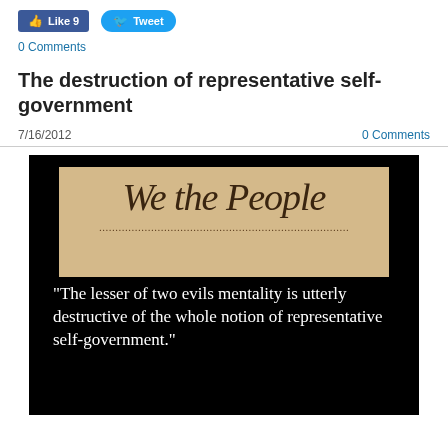[Figure (infographic): Facebook Like button showing 'Like 9' in blue, and Twitter Tweet button in blue]
0 Comments
The destruction of representative self-government
7/16/2012
0 Comments
[Figure (photo): Image with black background showing a photograph of 'We the People' from the US Constitution parchment at top, and below in white serif text: "The lesser of two evils mentality is utterly destructive of the whole notion of representative self-government."]